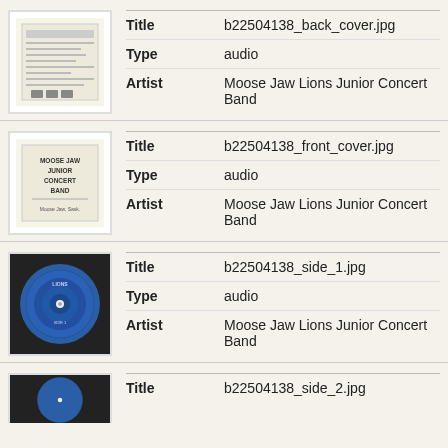[Figure (illustration): Thumbnail of back cover document image for b22504138]
| Field | Value |
| --- | --- |
| Title | b22504138_back_cover.jpg |
| Type | audio |
| Artist | Moose Jaw Lions Junior Concert Band |
[Figure (illustration): Thumbnail of front cover document image for b22504138, showing text MOOSE JAW JUNIOR CONCERT BAND]
| Field | Value |
| --- | --- |
| Title | b22504138_front_cover.jpg |
| Type | audio |
| Artist | Moose Jaw Lions Junior Concert Band |
[Figure (illustration): Thumbnail of side 1 record image for b22504138, showing a blue vinyl record label]
| Field | Value |
| --- | --- |
| Title | b22504138_side_1.jpg |
| Type | audio |
| Artist | Moose Jaw Lions Junior Concert Band |
[Figure (illustration): Thumbnail of side 2 record image for b22504138, partially visible]
| Field | Value |
| --- | --- |
| Title | b22504138_side_2.jpg |